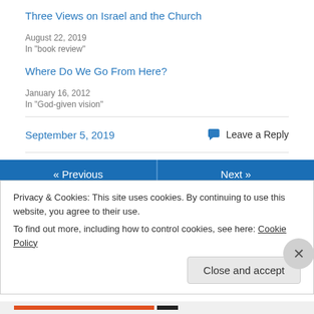Three Views on Israel and the Church
August 22, 2019
In "book review"
Where Do We Go From Here?
January 16, 2012
In "God-given vision"
September 5, 2019
Leave a Reply
« Previous
Next »
Privacy & Cookies: This site uses cookies. By continuing to use this website, you agree to their use.
To find out more, including how to control cookies, see here: Cookie Policy
Close and accept